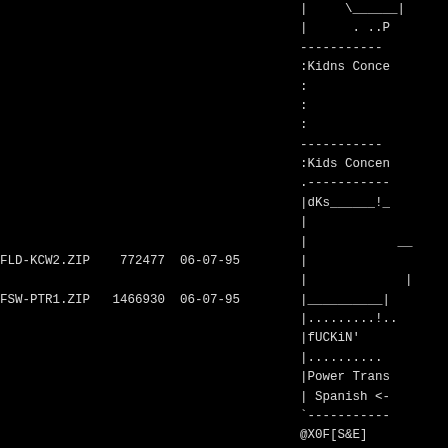Left column file listing: FLD-KCW2.ZIP 772477 06-07-95, FSW-PTR1.ZIP 1466930 06-07-95, FSW-PTR2.ZIP 1467177 06-07-95, FSW-PTR3.ZIP 1458889 06-07-95, FSW-PTR4.ZIP 1458868 06-07-95, FSW-PTR5.ZIP 1458884 06-07-95
Right column partial text including :Kidns Conce, :Kids Concen, dKs____!_, |fUCKiN', |Power Trans, | Spanish <-, @X0F[S&E], [S&E] RiSC, |Power Trans (x3)